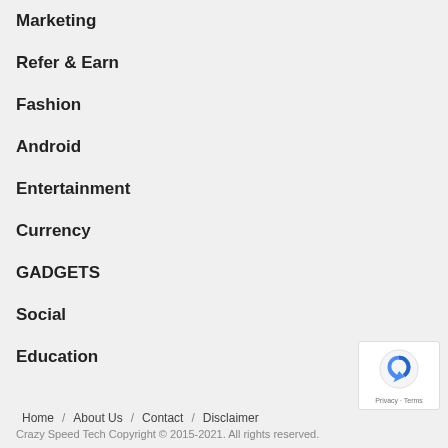Marketing
Refer & Earn
Fashion
Android
Entertainment
Currency
GADGETS
Social
Education
Home / About Us / Contact / Disclaimer
Crazy Speed Tech Copyright © 2015-2021. All rights reserved.